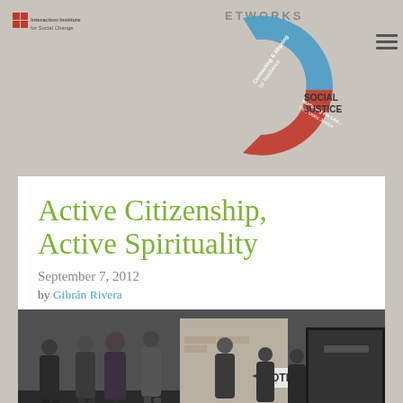[Figure (logo): Interaction Institute for Social Change logo, small grid icon with text]
[Figure (infographic): Circular diagram showing Networks for Social Justice theme with blue 'Connecting & Aligning for Resilience' and red 'Nurturing the Leadership That Does Justice' segments, with hamburger menu icon]
Active Citizenship, Active Spirituality
September 7, 2012
by Gibrán Rivera
[Figure (photo): Black and white photo of people standing in line at a polling place with a 'VOTE' sign on a brick building]